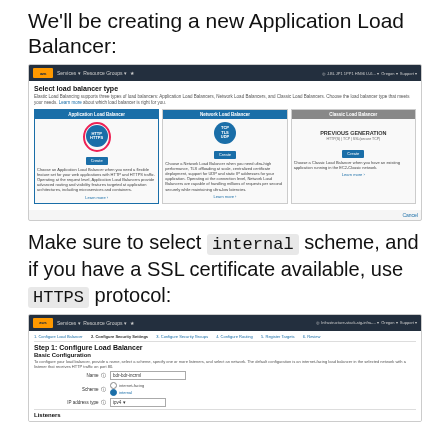We'll be creating a new Application Load Balancer:
[Figure (screenshot): AWS console screenshot showing the 'Select load balancer type' page with three options: Application Load Balancer (selected/highlighted), Network Load Balancer, and Classic Load Balancer (Previous Generation). Each card shows an icon, a Create button, and descriptive text.]
Make sure to select internal scheme, and if you have a SSL certificate available, use HTTPS protocol:
[Figure (screenshot): AWS console screenshot showing 'Step 1: Configure Load Balancer' with Basic Configuration section. Fields shown: Name (bdr-bdr-incrml), Scheme (internet-facing / internal radio buttons with internal selected), IP address type (ipv4). Listeners section visible at bottom.]